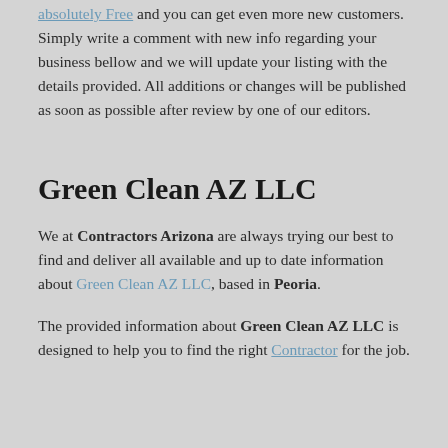absolutely Free and you can get even more new customers. Simply write a comment with new info regarding your business bellow and we will update your listing with the details provided. All additions or changes will be published as soon as possible after review by one of our editors.
Green Clean AZ LLC
We at Contractors Arizona are always trying our best to find and deliver all available and up to date information about Green Clean AZ LLC, based in Peoria.
The provided information about Green Clean AZ LLC is designed to help you to find the right Contractor for the job.